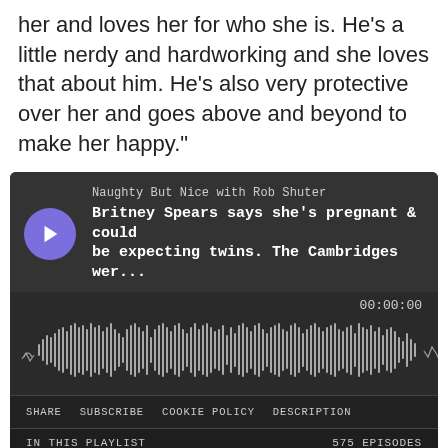her and loves her for who she is. He's a little nerdy and hardworking and she loves that about him. He's also very protective over her and goes above and beyond to make her happy."
[Figure (screenshot): Podcast player widget for 'Naughty But Nice with Rob Shuter' showing episode 'Britney Spears says she's pregnant & could be expecting twins. The Cambridges wer...' with waveform, time 00:00:00, share/subscribe/cookie policy/description controls, and playlist showing 575 episodes including 3 listed episodes.]